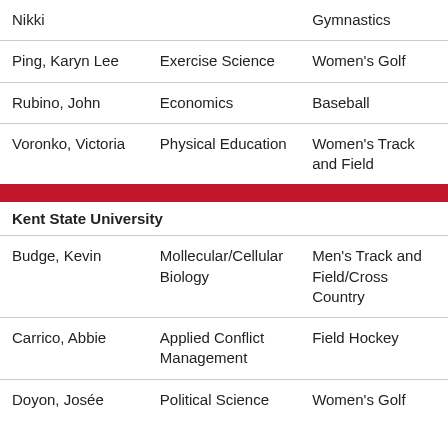| Nikki |  | Gymnastics |
| Ping, Karyn Lee | Exercise Science | Women's Golf |
| Rubino, John | Economics | Baseball |
| Voronko, Victoria | Physical Education | Women's Track and Field |
Kent State University
| Budge, Kevin | Mollecular/Cellular Biology | Men's Track and Field/Cross Country |
| Carrico, Abbie | Applied Conflict Management | Field Hockey |
| Doyon, Josée | Political Science | Women's Golf |